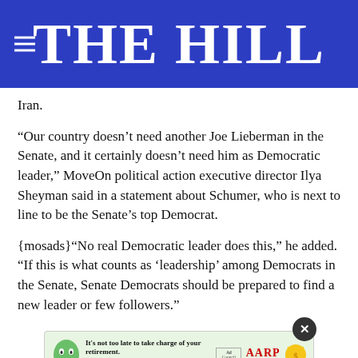THE HILL
Iran.
“Our country doesn’t need another Joe Lieberman in the Senate, and it certainly doesn’t need him as Democratic leader,” MoveOn political action executive director Ilya Sheyman said in a statement about Schumer, who is next to line to be the Senate’s top Democrat.
{mosads}“No real Democratic leader does this,” he added. “If this is what counts as ‘leadership’ among Democrats in the Senate, Senate Democrats should be prepared to find a new leader or few followers.”
[Figure (other): AARP advertisement banner: green mascot character, text 'It's not too late to take charge of your retirement. Get your top 3 tips', Ad Council logo, AARP logo, sun coin icon]
“In res… ide with partisan war hawks, MoveOn.org’s 8 million